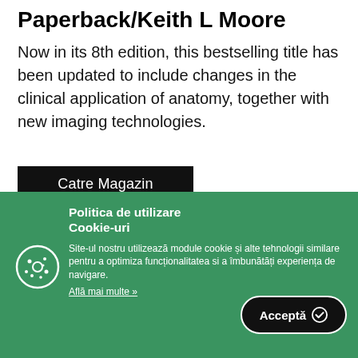Paperback/Keith L Moore
Now in its 8th edition, this bestselling title has been updated to include changes in the clinical application of anatomy, together with new imaging technologies.
[Figure (screenshot): Black button labeled 'Catre Magazin']
Politica de utilizare Cookie-uri
Site-ul nostru utilizează module cookie și alte tehnologii similare pentru a optimiza funcționalitatea si a îmbunătăți experiența de navigare.
Află mai multe »
[Figure (other): Accept button with checkmark icon reading 'Acceptă']